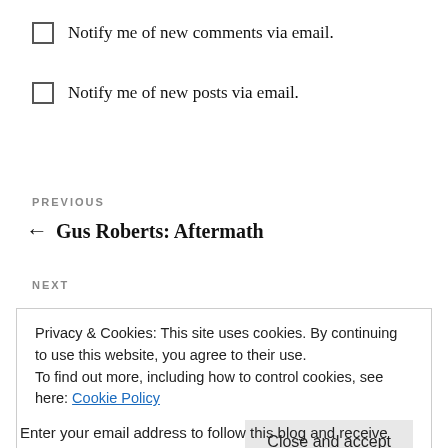Notify me of new comments via email.
Notify me of new posts via email.
PREVIOUS
← Gus Roberts: Aftermath
NEXT
Privacy & Cookies: This site uses cookies. By continuing to use this website, you agree to their use.
To find out more, including how to control cookies, see here: Cookie Policy
Close and accept
Enter your email address to follow this blog and receive